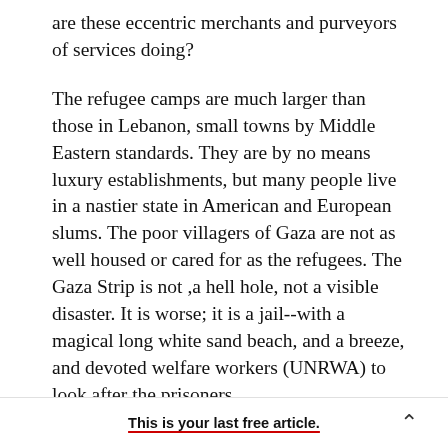are these eccentric merchants and purveyors of services doing?
The refugee camps are much larger than those in Lebanon, small towns by Middle Eastern standards. They are by no means luxury establishments, but many people live in a nastier state in American and European slums. The poor villagers of Gaza are not as well housed or cared for as the refugees. The Gaza Strip is not ,a hell hole, not a visible disaster. It is worse; it is a jail--with a magical long white sand beach, and a breeze, and devoted welfare workers (UNRWA) to look after the prisoners
This is your last free article.